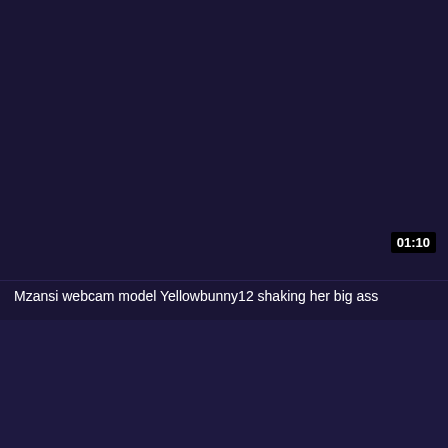[Figure (screenshot): Dark navy/purple video thumbnail with no visible content]
01:10
Mzansi webcam model Yellowbunny12 shaking her big ass